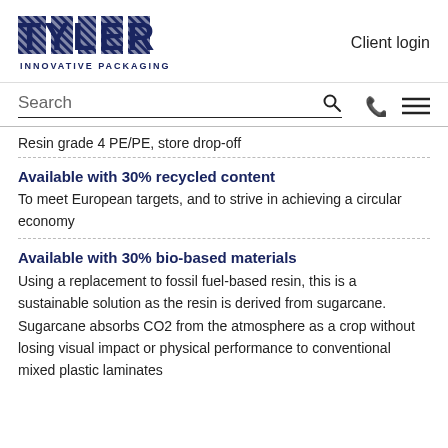TYLER INNOVATIVE PACKAGING
Client login
Search
Resin grade 4 PE/PE, store drop-off
Available with 30% recycled content
To meet European targets, and to strive in achieving a circular economy
Available with 30% bio-based materials
Using a replacement to fossil fuel-based resin, this is a sustainable solution as the resin is derived from sugarcane. Sugarcane absorbs CO2 from the atmosphere as a crop without losing visual impact or physical performance to conventional mixed plastic laminates